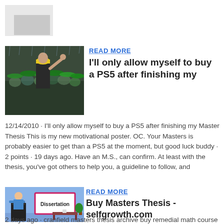[Figure (photo): Photo of a golfer on a rainy course, waving, surrounded by people with green umbrellas]
READ MORE
I'll only allow myself to buy a PS5 after finishing my
12/14/2010 · I'll only allow myself to buy a PS5 after finishing my Master Thesis This is my new motivational poster. OC. Your Masters is probably easier to get than a PS5 at the moment, but good luck buddy · 2 points · 19 days ago. Have an M.S., can confirm. At least with the thesis, you've got others to help you, a guideline to follow, and
[Figure (illustration): Illustration of a person presenting a Dissertation sign at a podium with a plant and table]
READ MORE
Buy Masters Thesis - selfgrowth.com
2 days ago · cranfield masters thesis archive buy remedial math course work chronicle of a